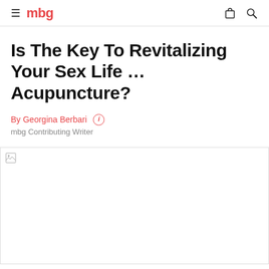mbg
Is The Key To Revitalizing Your Sex Life … Acupuncture?
By Georgina Berbari
mbg Contributing Writer
[Figure (photo): Article hero image — blank/unloaded image placeholder]